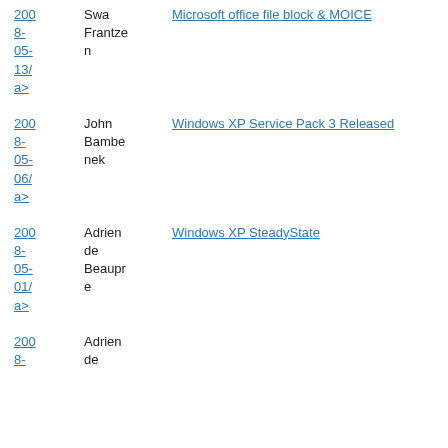2008-05-13/a> Swantzen Microsoft office file block & MOICE
2008-05-06/a> John Bambenek Windows XP Service Pack 3 Released
2008-05-01/a> Adriende Beaupre Windows XP SteadyState
2008-8- Adriende